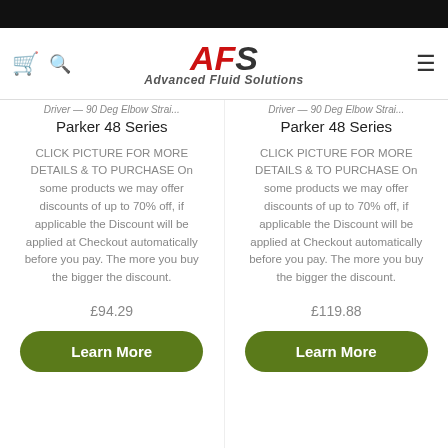AFS Advanced Fluid Solutions
Parker 48 Series — CLICK PICTURE FOR MORE DETAILS & TO PURCHASE On some products we may offer discounts of up to 70% off, if applicable the Discount will be applied at Checkout automatically before you pay. The more you buy the bigger the discount. £94.29
Parker 48 Series — CLICK PICTURE FOR MORE DETAILS & TO PURCHASE On some products we may offer discounts of up to 70% off, if applicable the Discount will be applied at Checkout automatically before you pay. The more you buy the bigger the discount. £119.88